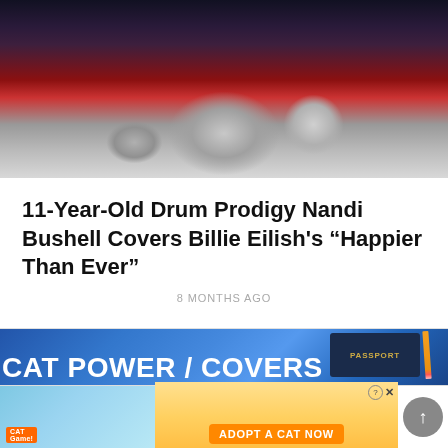[Figure (photo): Concert stage photo showing a drum kit with cymbals under stage lighting, dark background with red and purple lighting]
11-Year-Old Drum Prodigy Nandi Bushell Covers Billie Eilish's “Happier Than Ever”
8 MONTHS AGO
[Figure (photo): Album cover for Cat Power / Covers showing a denim jacket with a passport and pencil in the breast pocket, with bold white text reading CAT POWER / COVERS]
[Figure (photo): Advertisement banner for a cat-themed mobile game showing cartoon cats with text ADOPT A CAT NOW on an orange button]